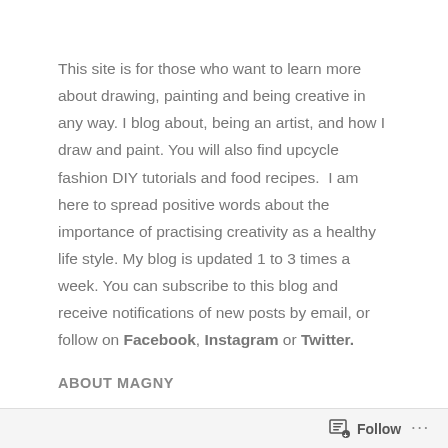This site is for those who want to learn more about drawing, painting and being creative in any way. I blog about, being an artist, and how I draw and paint. You will also find upcycle fashion DIY tutorials and food recipes.  I am here to spread positive words about the importance of practising creativity as a healthy life style. My blog is updated 1 to 3 times a week. You can subscribe to this blog and receive notifications of new posts by email, or follow on Facebook, Instagram or Twitter.
ABOUT MAGNY
Norwegian artist Magny Tjeltas' style of work, has developed through her ongoing interest in drawing, watercolour.
Follow ...